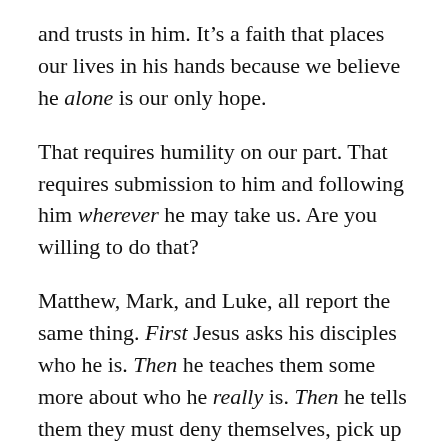and trusts in him. It’s a faith that places our lives in his hands because we believe he alone is our only hope.
That requires humility on our part. That requires submission to him and following him wherever he may take us. Are you willing to do that?
Matthew, Mark, and Luke, all report the same thing. First Jesus asks his disciples who he is. Then he teaches them some more about who he really is. Then he tells them they must deny themselves, pick up their crosses and follow him.